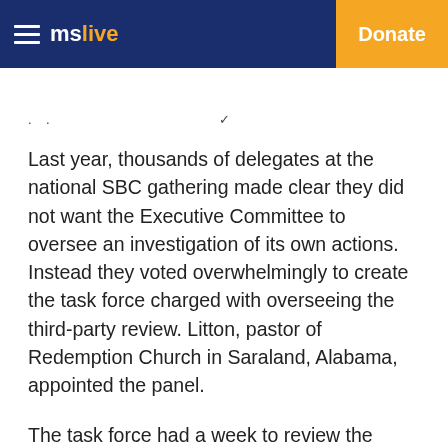mslive  Donate
. .
Last year, thousands of delegates at the national SBC gathering made clear they did not want the Executive Committee to oversee an investigation of its own actions. Instead they voted overwhelmingly to create the task force charged with overseeing the third-party review. Litton, pastor of Redemption Church in Saraland, Alabama, appointed the panel.
The task force had a week to review the report before it was publicly released. The task force's recommendations based on Guidepost's findings will be presented at the SBC's meeting in Anaheim